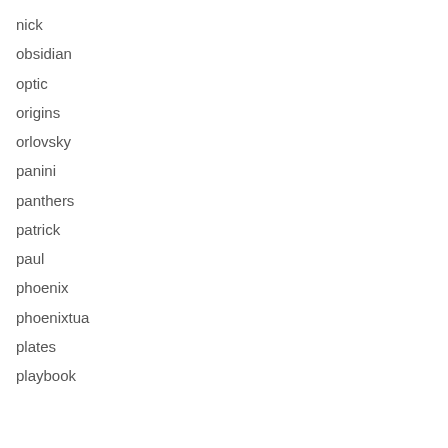nick
obsidian
optic
origins
orlovsky
panini
panthers
patrick
paul
phoenix
phoenixtua
plates
playbook